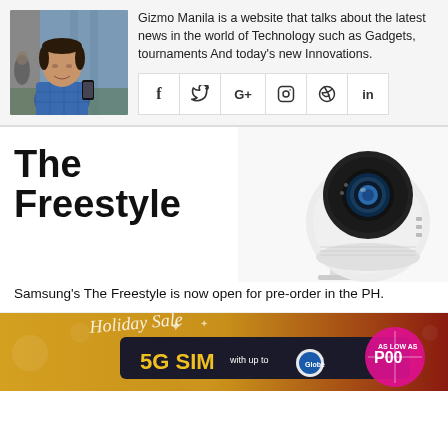[Figure (photo): Author photo: a man in a blue plaid shirt holding a phone, standing outside a building]
Gizmo Manila is a website that talks about the latest news in the world of Technology such as Gadgets, tournaments And today's new Innovations.
[Figure (infographic): Social media icons: Facebook, Twitter, Google+, Instagram, Pinterest, LinkedIn]
[Figure (photo): Samsung The Freestyle projector - white rounded device with camera lens on top, standing on a white surface]
The Freestyle
Samsung's The Freestyle is now open for pre-order in the PH.
[Figure (photo): Globe Telecom Holiday Sale advertisement showing 5G SIM with up to P00 as low as pricing]